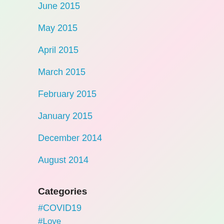June 2015
May 2015
April 2015
March 2015
February 2015
January 2015
December 2014
August 2014
Categories
#COVID19
#Love
Alexa